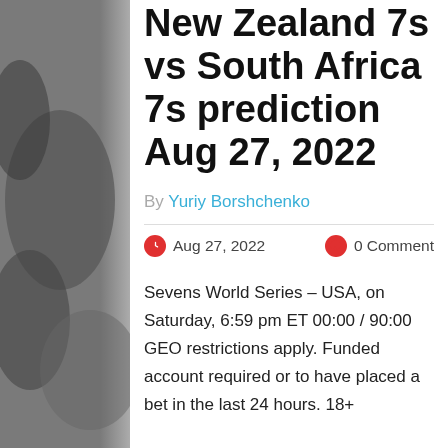[Figure (photo): Black and white background photo of rugby/football players in action]
New Zealand 7s vs South Africa 7s prediction Aug 27, 2022
By Yuriy Borshchenko
Aug 27, 2022   0 Comment
Sevens World Series – USA, on Saturday, 6:59 pm ET 00:00 / 90:00 GEO restrictions apply. Funded account required or to have placed a bet in the last 24 hours. 18+